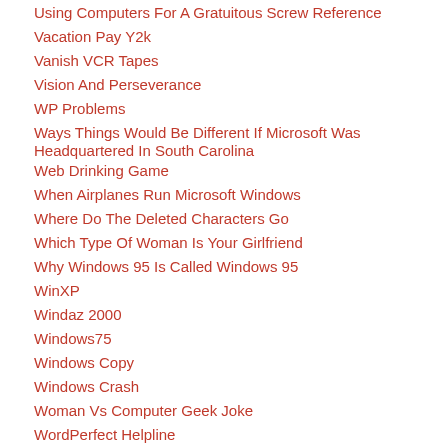Using Computers For A Gratuitous Screw Reference
Vacation Pay Y2k
Vanish VCR Tapes
Vision And Perseverance
WP Problems
Ways Things Would Be Different If Microsoft Was Headquartered In South Carolina
Web Drinking Game
When Airplanes Run Microsoft Windows
Where Do The Deleted Characters Go
Which Type Of Woman Is Your Girlfriend
Why Windows 95 Is Called Windows 95
WinXP
Windaz 2000
Windows75
Windows Copy
Windows Crash
Woman Vs Computer Geek Joke
WordPerfect Helpline
Words From Techsupport
YDU Minus A Neuron S...